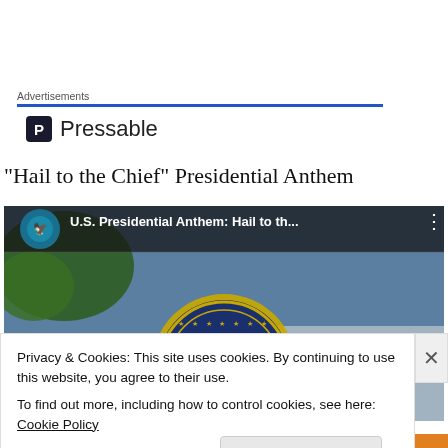Advertisements
[Figure (logo): Pressable logo with blue 'P' icon and 'Pressable' text]
“Hail to the Chief” Presidential Anthem
[Figure (screenshot): YouTube video thumbnail: U.S. Presidential Anthem: Hail to th... showing the Presidential seal and White House, with a circular seal overlay and video title bar]
Privacy & Cookies: This site uses cookies. By continuing to use this website, you agree to their use.
To find out more, including how to control cookies, see here: Cookie Policy